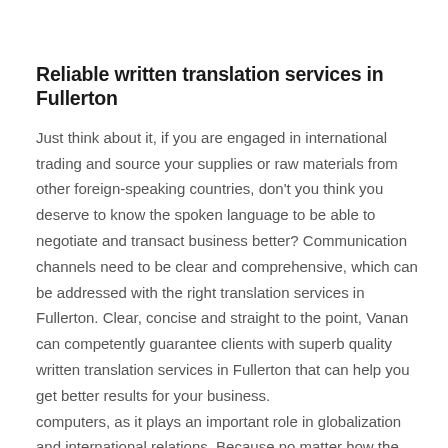Reliable written translation services in Fullerton
Just think about it, if you are engaged in international trading and source your supplies or raw materials from other foreign-speaking countries, don't you think you deserve to know the spoken language to be able to negotiate and transact business better? Communication channels need to be clear and comprehensive, which can be addressed with the right translation services in Fullerton. Clear, concise and straight to the point, Vanan can competently guarantee clients with superb quality written translation services in Fullerton that can help you get better results for your business.
computers, as it plays an important role in globalization and international relations. Because no matter how the